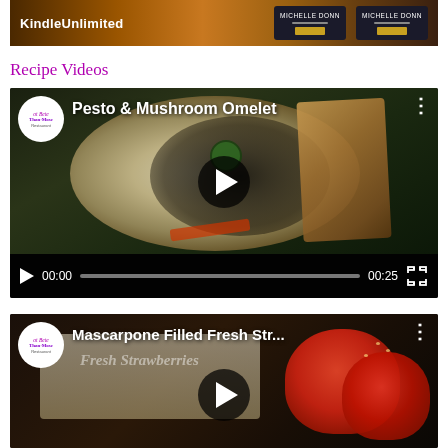[Figure (screenshot): KindleUnlimited banner advertisement with book covers by Michelle Donn on a warm dark background]
Recipe Videos
[Figure (screenshot): Video player showing Pesto & Mushroom Omelet recipe video with channel logo, play button, and controls showing 00:00 / 00:25]
[Figure (screenshot): Video player showing Mascarpone Filled Fresh Str... recipe video with channel logo, play button, and strawberry background]